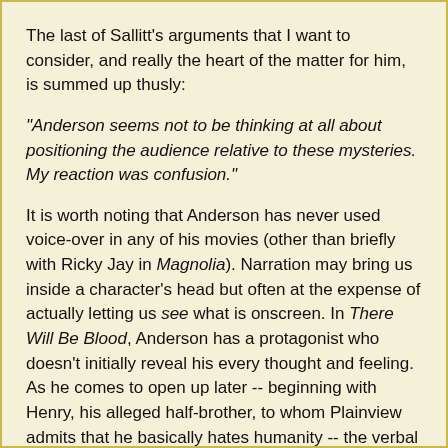The last of Sallitt's arguments that I want to consider, and really the heart of the matter for him, is summed up thusly:
"Anderson seems not to be thinking at all about positioning the audience relative to these mysteries. My reaction was confusion."
It is worth noting that Anderson has never used voice-over in any of his movies (other than briefly with Ricky Jay in Magnolia). Narration may bring us inside a character's head but often at the expense of actually letting us see what is onscreen. In There Will Be Blood, Anderson has a protagonist who doesn't initially reveal his every thought and feeling. As he comes to open up later -- beginning with Henry, his alleged half-brother, to whom Plainview admits that he basically hates humanity -- the verbal information we get regarding the character both supports what has been previously presented to us visually and establishes his motives in scenes to come.
The point-of-view in the film is difficult to ascertain; most of it